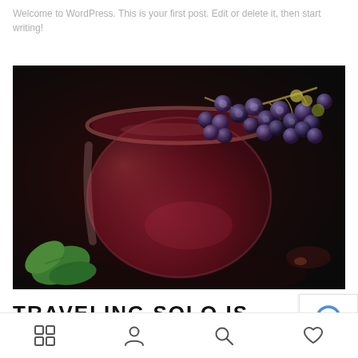Welcome to WordPress. This is your first post. Edit or delete it, then start writing!
[Figure (photo): A wine glass filled with red wine, garnished with a bunch of dark blue/purple grapes draped over the rim. Background is dark/black. Green leaves visible at bottom left.]
TRAVELING SOLO IS
[Figure (other): reCAPTCHA logo/widget — blue robot icon on white background]
Navigation bar with icons: shop/grid, person, search, heart/favorite